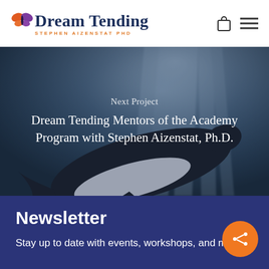Dream Tending | Stephen Aizenstat PhD
[Figure (screenshot): Website screenshot showing Dream Tending logo with butterfly, navigation icons (bag, menu), hero image of a whale underwater with text overlay, and newsletter section on dark navy background.]
Next Project
Dream Tending Mentors of the Academy Program with Stephen Aizenstat, Ph.D.
Newsletter
Stay up to date with events, workshops, and more!